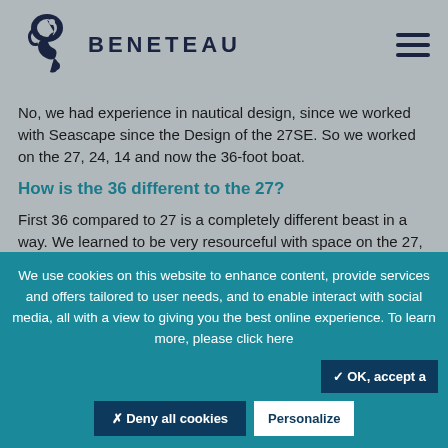[Figure (logo): Beneteau seahorse logo icon and brand name BENETEAU in header]
No, we had experience in nautical design, since we worked with Seascape since the Design of the 27SE. So we worked on the 27, 24, 14 and now the 36-foot boat.
How is the 36 different to the 27?
First 36 compared to 27 is a completely different beast in a way. We learned to be very resourceful with space on the 27, since it is a small boat, and we applied some of that
We use cookies on this website to enhance content, provide services and offers tailored to user needs, and to enable interact with social media, all with a view to giving you the best online experience. To learn more, please click here
✓ OK, accept a
✗ Deny all cookies
Personalize